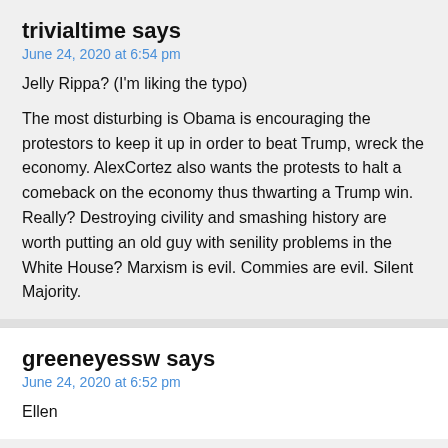trivialtime says
June 24, 2020 at 6:54 pm
Jelly Rippa? (I'm liking the typo)
The most disturbing is Obama is encouraging the protestors to keep it up in order to beat Trump, wreck the economy. AlexCortez also wants the protests to halt a comeback on the economy thus thwarting a Trump win. Really? Destroying civility and smashing history are worth putting an old guy with senility problems in the White House? Marxism is evil. Commies are evil. Silent Majority.
greeneyessw says
June 24, 2020 at 6:52 pm
Ellen